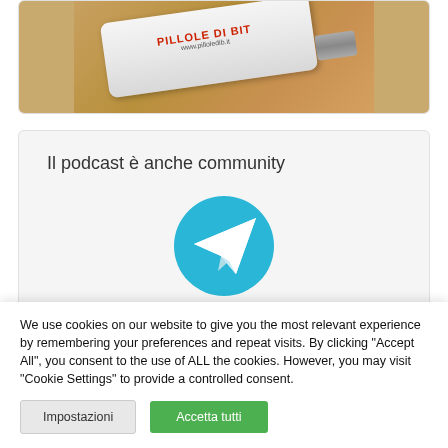[Figure (photo): USB flash drive with Pillole di Bit branding and www.pilloledib.it URL, lying on a wooden surface]
Il podcast è anche community
[Figure (logo): Telegram messenger logo — blue circle with white paper plane icon]
We use cookies on our website to give you the most relevant experience by remembering your preferences and repeat visits. By clicking "Accept All", you consent to the use of ALL the cookies. However, you may visit "Cookie Settings" to provide a controlled consent.
Impostazioni
Accetta tutti